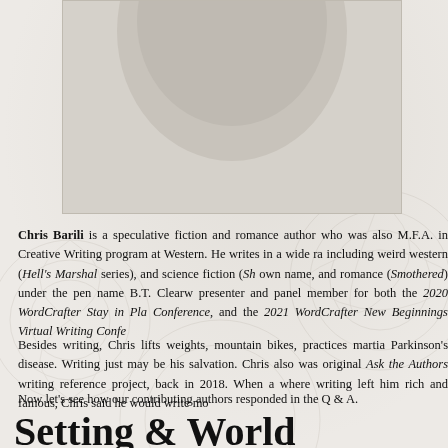[Figure (photo): Circular cropped author photo at the top of the page, partially cut off]
Chris Barili is a speculative fiction and romance author who was also M.F.A. in Creative Writing program at Western. He writes in a wide range including weird western (Hell's Marshal series), and science fiction (Sh... own name, and romance (Smothered) under the pen name B.T. Clearw... presenter and panel member for both the 2020 WordCrafter Stay in Pla... Conference, and the 2021 WordCrafter New Beginnings Virtual Writing Confe...
Besides writing, Chris lifts weights, mountain bikes, practices martial... Parkinson's disease. Writing just may be his salvation. Chris also was original Ask the Authors writing reference project, back in 2018. When a... where writing left him rich and famous, Chris said he would write mo...
Now let’s see how our contributing authors responded in the Q & A.
Setting & World Building